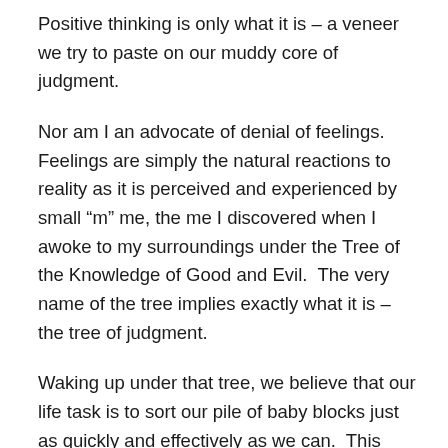Positive thinking is only what it is – a veneer we try to paste on our muddy core of judgment.
Nor am I an advocate of denial of feelings.  Feelings are simply the natural reactions to reality as it is perceived and experienced by small “m” me, the me I discovered when I awoke to my surroundings under the Tree of the Knowledge of Good and Evil.  The very name of the tree implies exactly what it is – the tree of judgment.
Waking up under that tree, we believe that our life task is to sort our pile of baby blocks just as quickly and effectively as we can.  This block is good . . . It goes in this pile.  This block is bad . . . It goes in that pile over there and I hope I can figure out a way to trash it so it never comes back.  And, oh my goodness, worst of all, I can’t decide about this one.  What will it become?  How do I